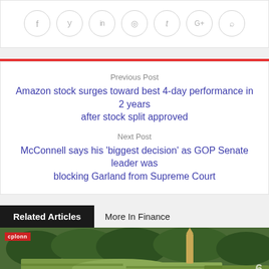[Figure (other): Social media sharing icons: Facebook, Twitter, LinkedIn, Reddit, Tumblr, Google+, Pinterest — circular outline buttons in a row]
Previous Post
Amazon stock surges toward best 4-day performance in 2 years after stock split approved
Next Post
McConnell says his 'biggest decision' as GOP Senate leader was blocking Garland from Supreme Court
Related Articles
More In Finance
[Figure (photo): News thumbnail showing cylindrical tanks (likely missile or military equipment) with trees in background; has a red channel logo badge top-left and a '6' watermark bottom-right]